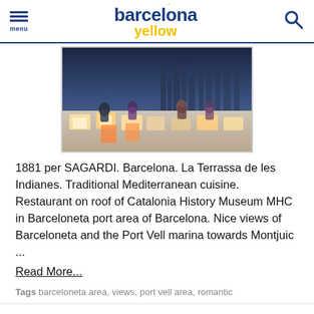barcelona yellow — menu, search
[Figure (photo): Rooftop terrace with people sitting on illuminated white cube seats, city skyline at dusk in background]
1881 per SAGARDI. Barcelona. La Terrassa de les Indianes. Traditional Mediterranean cuisine. Restaurant on roof of Catalonia History Museum MHC in Barceloneta port area of Barcelona. Nice views of Barceloneta and the Port Vell marina towards Montjuic ...
Read More...
Tags  barceloneta area, views, port vell area, romantic
7 Portes
[Figure (photo): Partial photo of 7 Portes restaurant]